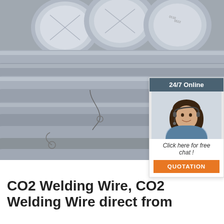[Figure (photo): Industrial metal round bars/rods stacked together, bundled with wire, shown from end view and side view. Gray metallic color with markings written on ends.]
[Figure (infographic): Chat widget: dark teal header reading '24/7 Online', image of smiling woman with headset, text 'Click here for free chat!', orange button labeled 'QUOTATION']
[Figure (logo): TOP logo: orange dots arranged in arc above the word TOP in orange on white background]
CO2 Welding Wire, CO2 Welding Wire direct from